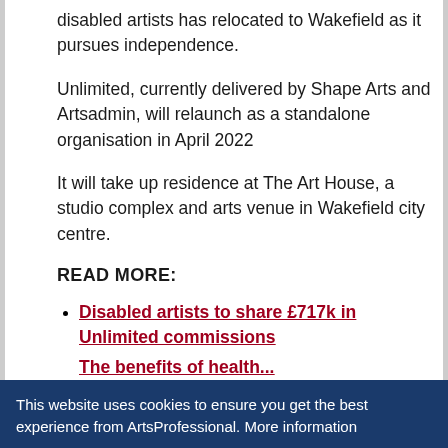disabled artists has relocated to Wakefield as it pursues independence.
Unlimited, currently delivered by Shape Arts and Artsadmin, will relaunch as a standalone organisation in April 2022
It will take up residence at The Art House, a studio complex and arts venue in Wakefield city centre.
READ MORE:
Disabled artists to share £717k in Unlimited commissions
(partial, cut off)
This website uses cookies to ensure you get the best experience from ArtsProfessional. More information